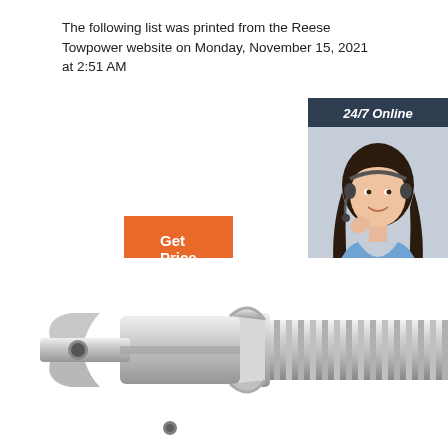The following list was printed from the Reese Towpower website on Monday, November 15, 2021 at 2:51 AM
[Figure (other): Orange 'Get Price' button]
[Figure (other): Sidebar widget with '24/7 Online' header, customer service representative photo, 'Click here for free chat!' text, and orange QUOTATION button]
[Figure (photo): Metallic tow hitch or trailer ball mount product photo]